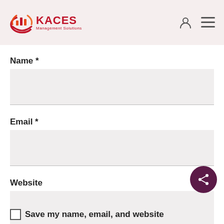[Figure (logo): KACES Management Solutions logo with orange/red circular chart icon and red text]
Name *
Email *
Website
Save my name, email, and website